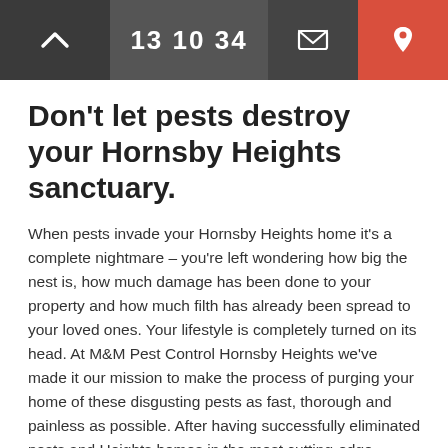13 10 34
Don't let pests destroy your Hornsby Heights sanctuary.
When pests invade your Hornsby Heights home it's a complete nightmare – you're left wondering how big the nest is, how much damage has been done to your property and how much filth has already been spread to your loved ones. Your lifestyle is completely turned on its head. At M&M Pest Control Hornsby Heights we've made it our mission to make the process of purging your home of these disgusting pests as fast, thorough and painless as possible. After having successfully eliminated pests and Hornsby Heights homes in the most cutting-edge environmentally-friendly techniques of getting rid of your pests and how...
[Figure (logo): Google Rating widget showing 4.7 stars with Google logo]
[Figure (other): Blue circular chat button icon]